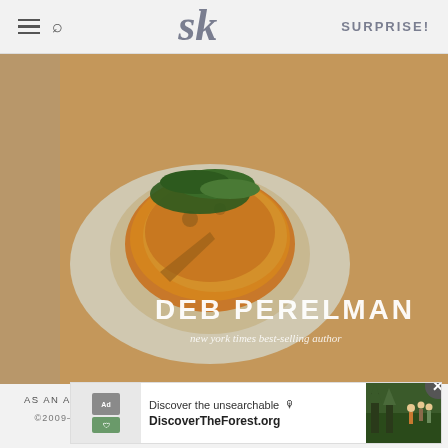SK — SURPRISE!
[Figure (photo): Cookbook cover showing food dish with arugula on a white plate, authored by Deb Perelman, New York Times best-selling author]
AS AN AMAZON ASSOCIATE I EARN FROM QUALIFYING PURCHASES.
©2009–2022 SMITTEN KITCHEN. PROUDLY POWERED BY WORDPRESS.
HOSTED BY PRESSABLE
[Figure (screenshot): Advertisement banner: Discover the unsearchable — DiscoverTheForest.org with forest photo]